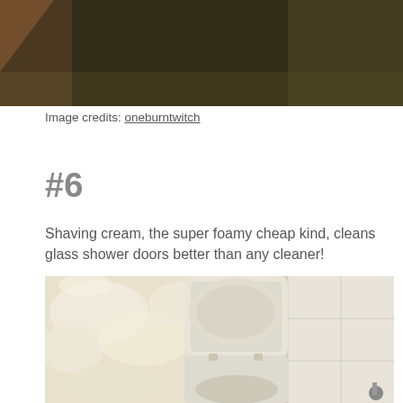[Figure (photo): Cropped dark-toned photo, partially visible at top of page]
Image credits: oneburntwitch
#6
Shaving cream, the super foamy cheap kind, cleans glass shower doors better than any cleaner!
[Figure (photo): Photo of a bathroom showing a toilet and tiled wall covered with shaving cream foam]